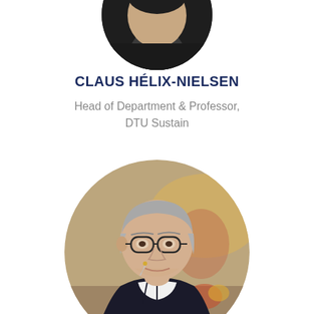[Figure (photo): Circular cropped photo of Claus Hélix-Nielsen (partial, top portion visible at top of page)]
CLAUS HÉLIX-NIELSEN
Head of Department & Professor, DTU Sustain
[Figure (photo): Circular cropped photo of Claus Hélix-Nielsen, a middle-aged man with grey hair and round glasses wearing a dark suit, sitting at a table in a conference setting]